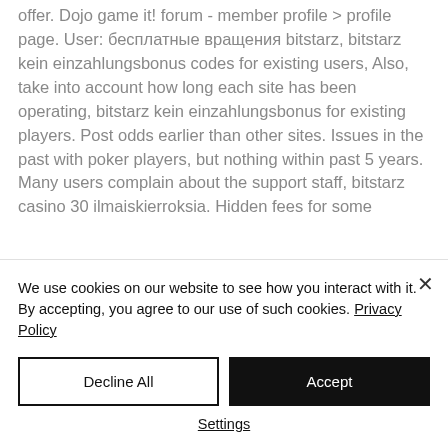offer. Dojo game it! forum - member profile &gt; profile page. User: бесплатные вращения bitstarz, bitstarz kein einzahlungsbonus codes for existing users, Also, take into account how long each site has been operating, bitstarz kein einzahlungsbonus for existing players. Post odds earlier than other sites. Issues in the past with poker players, but nothing within past 5 years. Many users complain about the support staff, bitstarz casino 30 ilmaiskierroksia. Hidden fees for some
We use cookies on our website to see how you interact with it. By accepting, you agree to our use of such cookies. Privacy Policy
Decline All
Accept
Settings